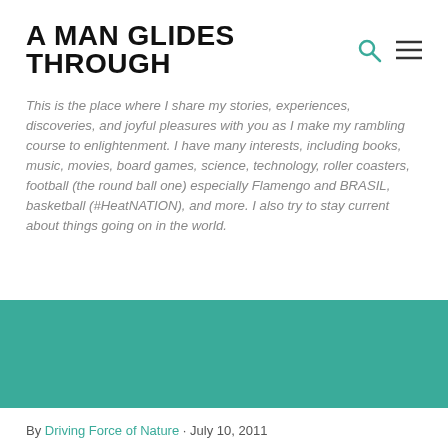A MAN GLIDES THROUGH
This is the place where I share my stories, experiences, discoveries, and joyful pleasures with you as I make my rambling course to enlightenment. I have many interests, including books, music, movies, board games, science, technology, roller coasters, football (the round ball one) especially Flamengo and BRASIL, basketball (#HeatNATION), and more. I also try to stay current about things going on in the world.
[Figure (other): Teal/green colored banner image]
By Driving Force of Nature · July 10, 2011